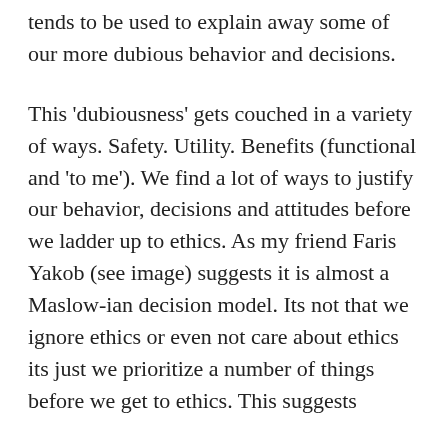tends to be used to explain away some of our more dubious behavior and decisions.
This 'dubiousness' gets couched in a variety of ways. Safety. Utility. Benefits (functional and 'to me'). We find a lot of ways to justify our behavior, decisions and attitudes before we ladder up to ethics. As my friend Faris Yakob (see image) suggests it is almost a Maslow-ian decision model. Its not that we ignore ethics or even not care about ethics its just we prioritize a number of things before we get to ethics. This suggests